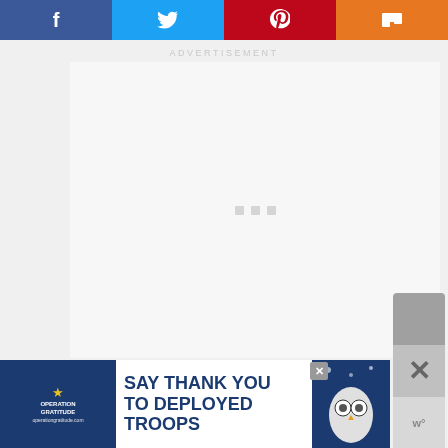[Figure (screenshot): Social sharing bar with four buttons: Facebook (dark blue), Twitter (light blue), Pinterest (red), Mix (orange), each with their respective icons in white]
ADVERTISEMENT
[Figure (screenshot): Large advertisement loading area with three small grey loading dots in the center]
[Figure (screenshot): Operation Gratitude banner ad: SAY THANK YOU TO DEPLOYED TROOPS, with patriotic imagery and owl mascot]
[Figure (screenshot): Side widget showing a grey box at top, an X close button, and a 'w°' logo at bottom]